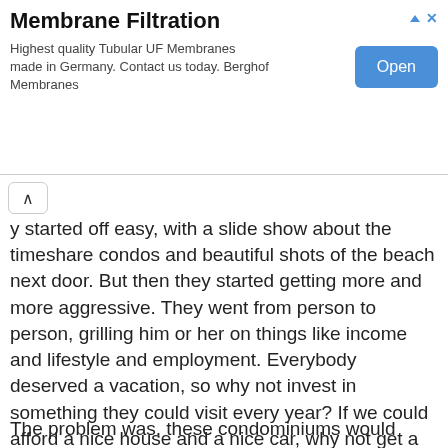[Figure (other): Advertisement banner for Membrane Filtration product. Title: 'Membrane Filtration'. Description: 'Highest quality Tubular UF Membranes made in Germany. Contact us today. Berghof Membranes'. Blue 'Open' button on the right. Navigation arrow and X icon top right.]
y started off easy, with a slide show about the timeshare condos and beautiful shots of the beach next door. But then they started getting more and more aggressive. They went from person to person, grilling him or her on things like income and lifestyle and employment. Everybody deserved a vacation, so why not invest in something they could visit every year? If we could afford a nice house and a nice car, why not get a nice vacation home as well?
The problem was, these condominiums would